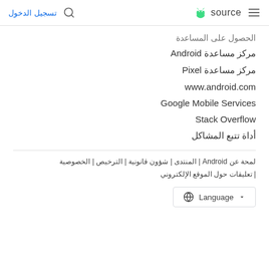تسجيل الدخول | [search icon] | [android logo] source | [menu icon]
الحصول على المساعدة
مركز مساعدة Android
مركز مساعدة Pixel
www.android.com
Google Mobile Services
Stack Overflow
أداة تتبع المشاكل
لمحة عن Android | المنتدى | شؤون قانونية | الترخيص | الخصوصية | تعليقات حول الموقع الإلكتروني
Language